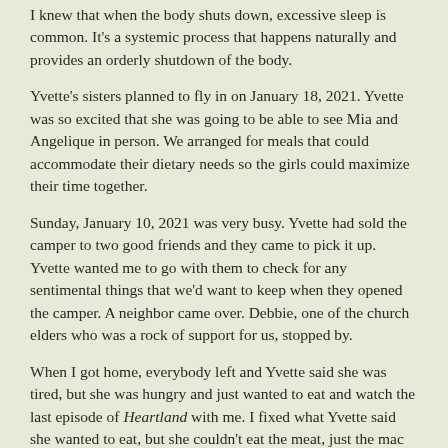I knew that when the body shuts down, excessive sleep is common. It's a systemic process that happens naturally and provides an orderly shutdown of the body.
Yvette's sisters planned to fly in on January 18, 2021. Yvette was so excited that she was going to be able to see Mia and Angelique in person. We arranged for meals that could accommodate their dietary needs so the girls could maximize their time together.
Sunday, January 10, 2021 was very busy. Yvette had sold the camper to two good friends and they came to pick it up. Yvette wanted me to go with them to check for any sentimental things that we'd want to keep when they opened the camper. A neighbor came over. Debbie, one of the church elders who was a rock of support for us, stopped by.
When I got home, everybody left and Yvette said she was tired, but she was hungry and just wanted to eat and watch the last episode of Heartland with me. I fixed what Yvette said she wanted to eat, but she couldn't eat the meat, just the mac and cheese. I asked if she wanted some mashed potatoes. She ate a decent serving of mashed potatoes.
Yvette ate the next day, but it was in dribs and drabs because she was